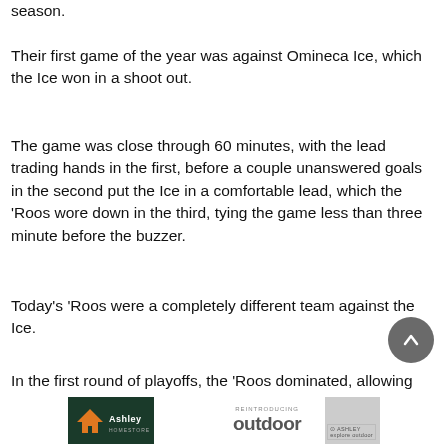season.
Their first game of the year was against Omineca Ice, which the Ice won in a shoot out.
The game was close through 60 minutes, with the lead trading hands in the first, before a couple unanswered goals in the second put the Ice in a comfortable lead, which the ‘Roos wore down in the third, tying the game less than three minute before the buzzer.
Today’s ‘Roos were a completely different team against the Ice.
In the first round of playoffs, the ‘Roos dominated, allowing
[Figure (other): Ashley HomeStore outdoor furniture advertisement banner]